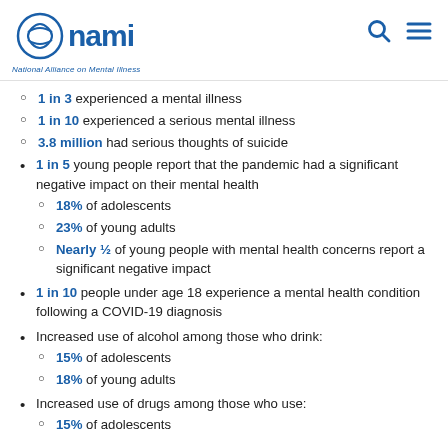NAMI - National Alliance on Mental Illness
1 in 3 experienced a mental illness
1 in 10 experienced a serious mental illness
3.8 million had serious thoughts of suicide
1 in 5 young people report that the pandemic had a significant negative impact on their mental health
18% of adolescents
23% of young adults
Nearly ½ of young people with mental health concerns report a significant negative impact
1 in 10 people under age 18 experience a mental health condition following a COVID-19 diagnosis
Increased use of alcohol among those who drink:
15% of adolescents
18% of young adults
Increased use of drugs among those who use:
15% of adolescents